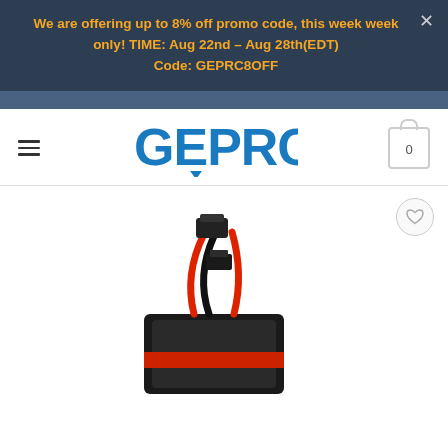We are offering up to 8% off promo code, this week only! TIME: Aug 22nd – Aug 28th(EDT)
Code: GEPRC8OFF
[Figure (logo): GEPRC brand logo in blue with shopping cart icon showing 0 items]
[Figure (photo): LiPo battery pack with red and black wires and connector plugs, photographed on white background]